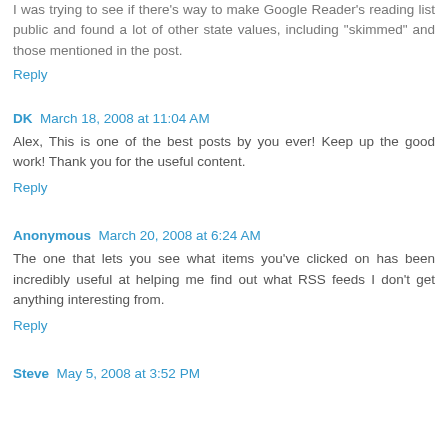I was trying to see if there's way to make Google Reader's reading list public and found a lot of other state values, including "skimmed" and those mentioned in the post.
Reply
DK  March 18, 2008 at 11:04 AM
Alex, This is one of the best posts by you ever! Keep up the good work! Thank you for the useful content.
Reply
Anonymous  March 20, 2008 at 6:24 AM
The one that lets you see what items you've clicked on has been incredibly useful at helping me find out what RSS feeds I don't get anything interesting from.
Reply
Steve  May 5, 2008 at 3:52 PM